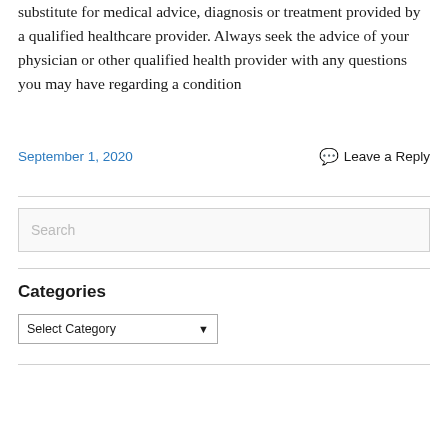substitute for medical advice, diagnosis or treatment provided by a qualified healthcare provider. Always seek the advice of your physician or other qualified health provider with any questions you may have regarding a condition
September 1, 2020  💬 Leave a Reply
Search
Categories
Select Category